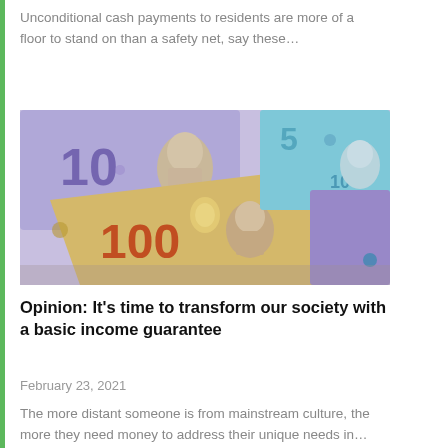Unconditional cash payments to residents are more of a floor to stand on than a safety net, say these…
[Figure (photo): Pile of Canadian currency banknotes including $100, $10, and $5 bills spread out on a surface]
Opinion: It's time to transform our society with a basic income guarantee
February 23, 2021
The more distant someone is from mainstream culture, the more they need money to address their unique needs in…